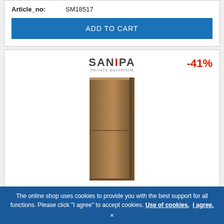Article_no: SM18517
ADD TO CART
[Figure (logo): SANIPA brand logo with red dot above the I]
-41%
[Figure (photo): Tall bathroom storage cabinet in walnut wood finish, rectangular, upright with two doors]
The online shop uses cookies to provide you with the best support for all functions. Please click "I agree" to accept cookies. Use of cookies. I agree.